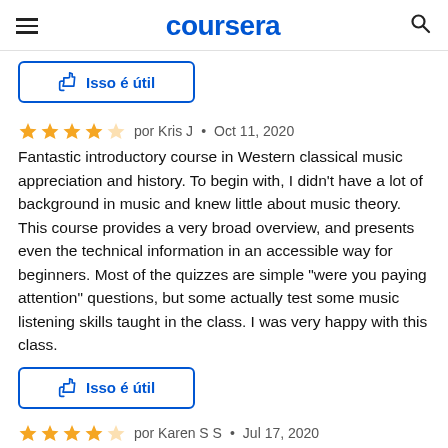coursera
Isso é útil
por Kris J • Oct 11, 2020
Fantastic introductory course in Western classical music appreciation and history. To begin with, I didn't have a lot of background in music and knew little about music theory. This course provides a very broad overview, and presents even the technical information in an accessible way for beginners. Most of the quizzes are simple "were you paying attention" questions, but some actually test some music listening skills taught in the class. I was very happy with this class.
Isso é útil
por Karen S S • Jul 17, 2020